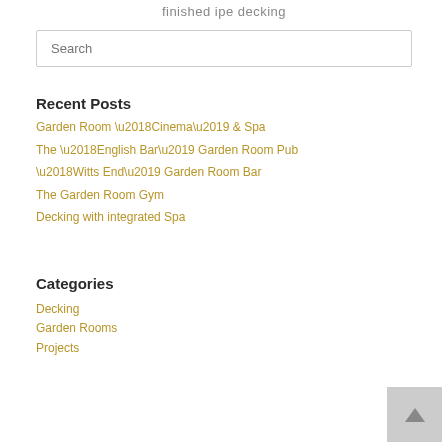finished ipe decking
Search
Recent Posts
Garden Room ‘Cinema’ & Spa
The ‘English Bar’ Garden Room Pub
‘Witts End’ Garden Room Bar
The Garden Room Gym
Decking with integrated Spa
Categories
Decking
Garden Rooms
Projects